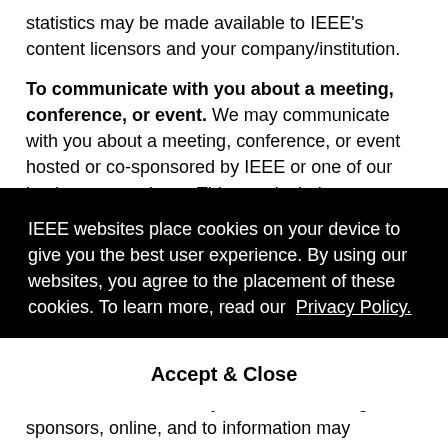statistics may be made available to IEEE's content licensors and your company/institution.
To communicate with you about a meeting, conference, or event. We may communicate with you about a meeting, conference, or event hosted or co-sponsored by IEEE or one of our business associates. This may include information about the event's content, event logistics, payment, updates, and additional information related to the event. Information you provide when registering for or participating in a conference organized or co-sponsored by parties other than in addition ... presentations, providing your information to their personal, and you should review their privacy policies ... your particular needs and concerns about how they will treat your
IEEE websites place cookies on your device to give you the best user experience. By using our websites, you agree to the placement of these cookies. To learn more, read our Privacy Policy.
Accept & Close